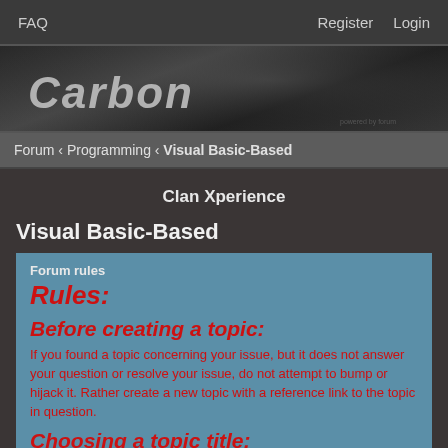FAQ   Register   Login
[Figure (logo): Carbon forum banner with stylized italic logo text on dark gradient background]
Forum ‹ Programming ‹ Visual Basic-Based
Clan Xperience
Visual Basic-Based
Forum rules
Rules:
Before creating a topic:
If you found a topic concerning your issue, but it does not answer your question or resolve your issue, do not attempt to bump or hijack it. Rather create a new topic with a reference link to the topic in question.
Choosing a topic title:
Choose a topic title that makes sense with what the thread you made is about. Don't create topic titles that contain spam, sexual, or racial comments or subjects.